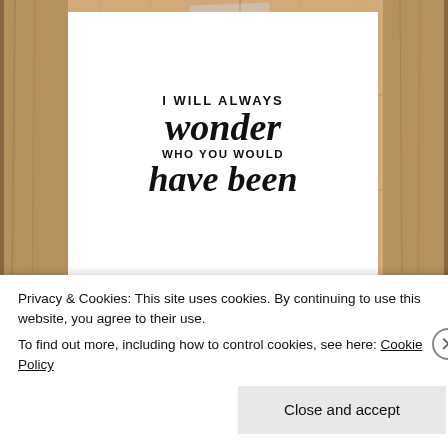[Figure (photo): A decorative handlettered print taped to a rustic wood plank background. The print on white paper reads: 'I WILL ALWAYS wonder WHO YOU WOULD have been' in a mix of print uppercase and script lettering styles.]
Privacy & Cookies: This site uses cookies. By continuing to use this website, you agree to their use.
To find out more, including how to control cookies, see here: Cookie Policy
Close and accept